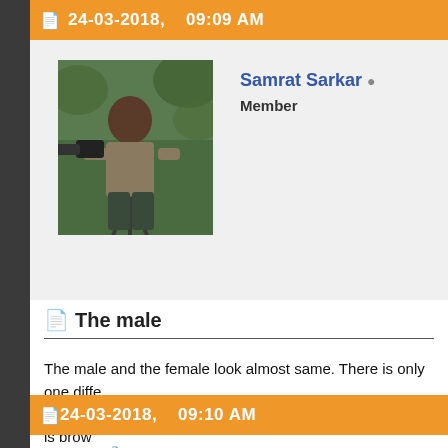24-03-2018,   09:09 AM
[Figure (photo): Forum user avatar showing a person holding a large camera/telephoto lens outdoors]
Samrat Sarkar  Member
The male
The male and the female look almost same. There is only one diffe them. The back of the male is grey while that of the female is brow
Attached Images
http://www.boisabirds.wordpress.com
24-03-2018,   09:10 AM